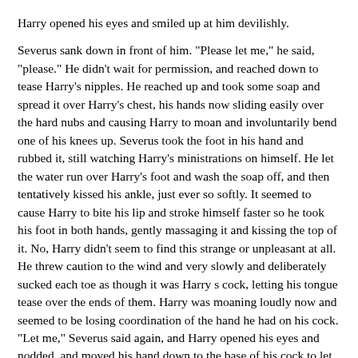Harry opened his eyes and smiled up at him devilishly.
Severus sank down in front of him. "Please let me," he said, "please." He didn't wait for permission, and reached down to tease Harry's nipples. He reached up and took some soap and spread it over Harry's chest, his hands now sliding easily over the hard nubs and causing Harry to moan and involuntarily bend one of his knees up. Severus took the foot in his hand and rubbed it, still watching Harry's ministrations on himself. He let the water run over Harry's foot and wash the soap off, and then tentatively kissed his ankle, just ever so softly. It seemed to cause Harry to bite his lip and stroke himself faster so he took his foot in both hands, gently massaging it and kissing the top of it. No, Harry didn't seem to find this strange or unpleasant at all. He threw caution to the wind and very slowly and deliberately sucked each toe as though it was Harry s cock, letting his tongue tease over the ends of them. Harry was moaning loudly now and seemed to be losing coordination of the hand he had on his cock.
"Let me," Severus said again, and Harry opened his eyes and nodded, and moved his hand down to the base of his cock to let Severus put his mouth on it.
"Oh god, yeah," Harry groaned, and Severus moaned at his lover's pleasure. "Aidan… Aidan, oh, god," Harry was moaning. Severus was almost stung by the name, though he understood. He knew